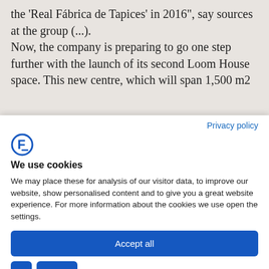the 'Real Fábrica de Tapices' in 2016", say sources at the group (...).
Now, the company is preparing to go one step further with the launch of its second Loom House space. This new centre, which will span 1,500 m2
Privacy policy
[Figure (logo): Cookiebot / consent management logo — stylized letter F in blue circle outline]
We use cookies
We may place these for analysis of our visitor data, to improve our website, show personalised content and to give you a great website experience. For more information about the cookies we use open the settings.
Accept all
Deny
No, adjust